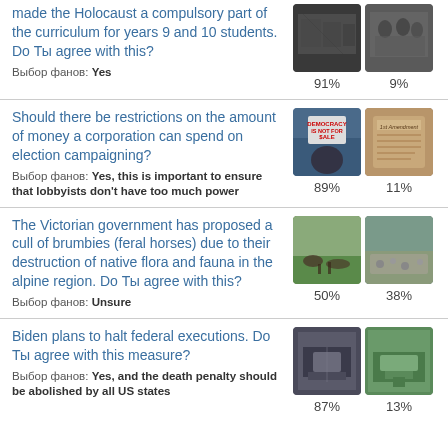made the Holocaust a compulsory part of the curriculum for years 9 and 10 students. Do Ты agree with this? Выбор фанов: Yes
[Figure (photo): Two historical black and white photos related to Holocaust curriculum question. 91% and 9%]
Should there be restrictions on the amount of money a corporation can spend on election campaigning? Выбор фанов: Yes, this is important to ensure that lobbyists don't have too much power
[Figure (photo): Two photos: protest sign reading Democracy is not for sale, and a First Amendment document. 89% and 11%]
The Victorian government has proposed a cull of brumbies (feral horses) due to their destruction of native flora and fauna in the alpine region. Do Ты agree with this? Выбор фанов: Unsure
[Figure (photo): Two photos of horses/brumbies in alpine landscape. 50% and 38%]
Biden plans to halt federal executions. Do Ты agree with this measure? Выбор фанов: Yes, and the death penalty should be abolished by all US states
[Figure (photo): Two photos of execution chambers. 87% and 13%]